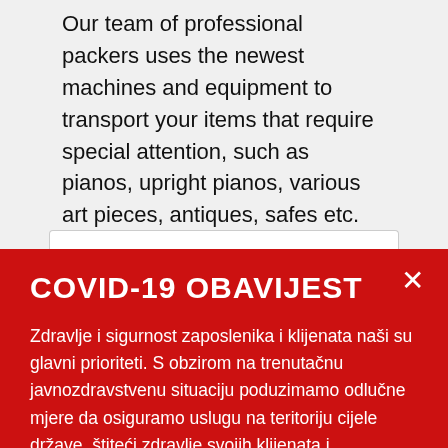Our team of professional packers uses the newest machines and equipment to transport your items that require special attention, such as pianos, upright pianos, various art pieces, antiques, safes etc.
COVID-19 OBAVIJEST
Zdravlje i sigurnost zaposlenika i klijenata naši su glavni prioriteti. S obzirom na trenutačnu javnozdravstvenu situaciju poduzimamo odlučne mjere da osiguramo uslugu na teritoriju cijele države, štiteći zdravlje svojih klijenata i zaposlenika. #OstanimoOdgovorni